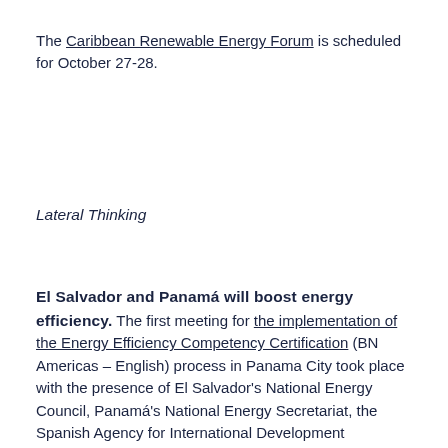The Caribbean Renewable Energy Forum is scheduled for October 27-28.
Lateral Thinking
El Salvador and Panamá will boost energy efficiency. The first meeting for the implementation of the Energy Efficiency Competency Certification (BN Americas – English) process in Panama City took place with the presence of El Salvador's National Energy Council, Panamá's National Energy Secretariat, the Spanish Agency for International Development